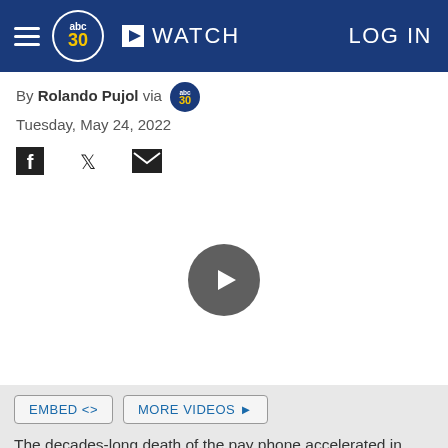abc30 WATCH LOG IN
By Rolando Pujol via abc30
Tuesday, May 24, 2022
[Figure (other): Social share icons: Facebook, Twitter, Email]
[Figure (other): Video player with large circular play button on white background]
EMBED <> MORE VIDEOS ▶
The decades-long death of the pay phone accelerated in 2015, when the city, along with Citybridge, began to install